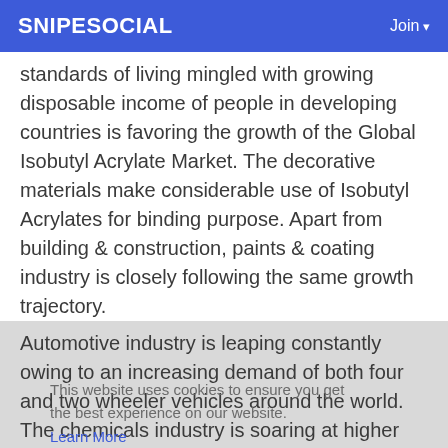SNIPESOCIAL    Join
standards of living mingled with growing disposable income of people in developing countries is favoring the growth of the Global Isobutyl Acrylate Market. The decorative materials make considerable use of Isobutyl Acrylates for binding purpose. Apart from building & construction, paints & coating industry is closely following the same growth trajectory.
Automotive industry is leaping constantly owing to an increasing demand of both four and two wheeler vehicles around the world. The chemicals industry is soaring at higher CAGR in its major regions such as Asia Pacific and North America with the diversification of chemical products to be used in vast number of end use industries such as healthcare, food & beverages, consumer